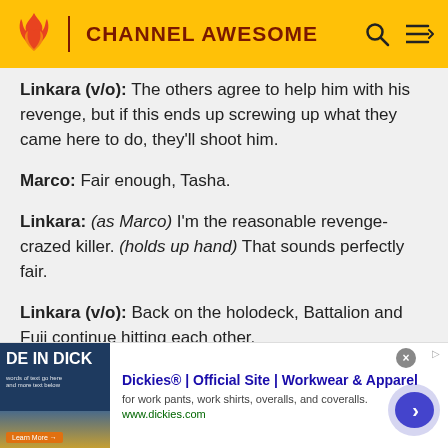CHANNEL AWESOME
Linkara (v/o): The others agree to help him with his revenge, but if this ends up screwing up what they came here to do, they'll shoot him.
Marco: Fair enough, Tasha.
Linkara: (as Marco) I'm the reasonable revenge-crazed killer. (holds up hand) That sounds perfectly fair.
Linkara (v/o): Back on the holodeck, Battalion and Fuji continue hitting each other.
[Figure (infographic): Dickies advertisement banner with logo image on left, text 'Dickies® | Official Site | Workwear & Apparel', description 'for work pants, work shirts, overalls, and coveralls.', url 'www.dickies.com', and a navigation arrow button on the right.]